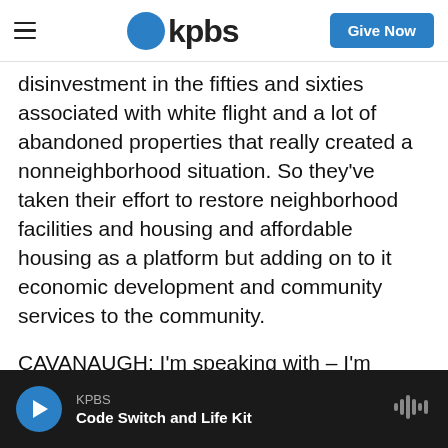KPBS — Give Now
disinvestment in the fifties and sixties associated with white flight and a lot of abandoned properties that really created a nonneighborhood situation. So they've taken their effort to restore neighborhood facilities and housing and affordable housing as a platform but adding on to it economic development and community services to the community.
CAVANAUGH: I'm speaking with – I'm speaking with Bill Anderson and Joe Horiye and we are talking about the Local Initiatives Support Corporation and Putting Neighborhoods First, what the neighborhood needs, creating an action plan to
KPBS — Code Switch and Life Kit